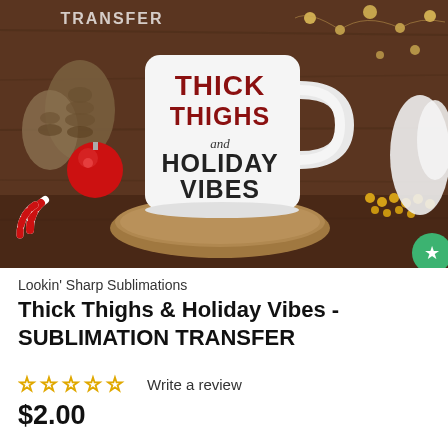[Figure (photo): Product photo of a white ceramic mug with 'THICK THIGHS and HOLIDAY VIBES' text in plaid/buffalo check pattern, placed on a wood slice board, surrounded by Christmas decorations including pine cones, red ornaments, candy canes, gold beads, and fairy lights on a dark wood background. A watermark reading 'TRANSFER' appears in the top-left corner. A green circular favorite/star button appears in the bottom-right corner.]
Lookin' Sharp Sublimations
Thick Thighs & Holiday Vibes - SUBLIMATION TRANSFER
☆ ☆ ☆ ☆ ☆ Write a review
$2.00